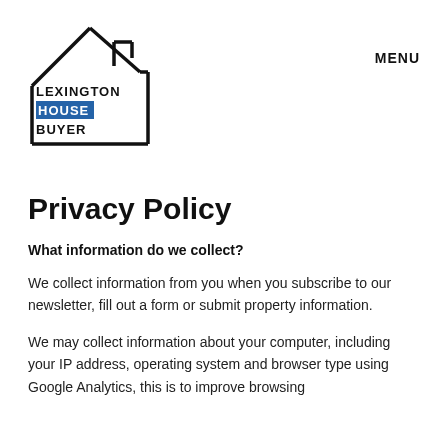[Figure (logo): Lexington House Buyer logo with house outline shape and text LEXINGTON / HOUSE (on blue background) / BUYER]
MENU
Privacy Policy
What information do we collect?
We collect information from you when you subscribe to our newsletter, fill out a form or submit property information.
We may collect information about your computer, including your IP address, operating system and browser type using Google Analytics, this is to improve browsing